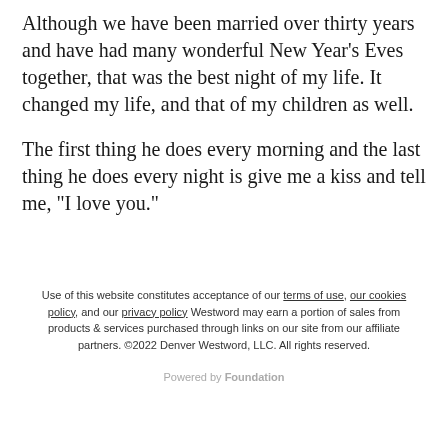Although we have been married over thirty years and have had many wonderful New Year's Eves together, that was the best night of my life. It changed my life, and that of my children as well.
The first thing he does every morning and the last thing he does every night is give me a kiss and tell me, "I love you."
Use of this website constitutes acceptance of our terms of use, our cookies policy, and our privacy policy Westword may earn a portion of sales from products & services purchased through links on our site from our affiliate partners. ©2022 Denver Westword, LLC. All rights reserved.
Powered by Foundation